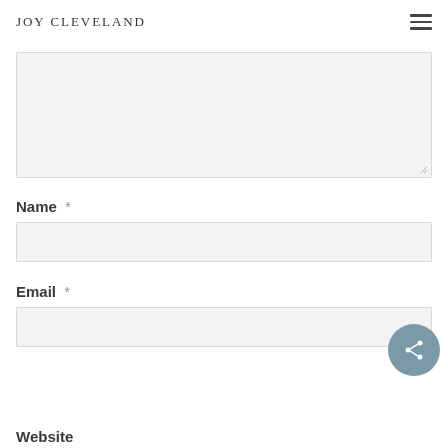Joy Cleveland
[Figure (screenshot): Large textarea input field with light gray background]
Name *
[Figure (screenshot): Name text input field with light gray background]
Email *
[Figure (screenshot): Email text input field with light gray background and share button overlay]
Website